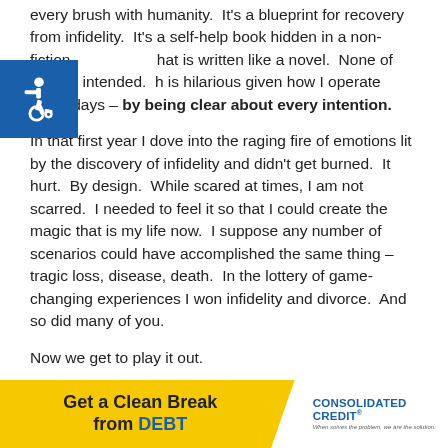every brush with humanity.  It's a blueprint for recovery from infidelity.  It's a self-help book hidden in a non-fiction that is written like a novel.  None of which I intended. h is hilarious given how I operate these days – by being clear about every intention.
[Figure (illustration): Blue square accessibility icon with white wheelchair symbol]
In that first year I dove into the raging fire of emotions lit by the discovery of infidelity and didn't get burned.  It hurt.  By design.  While scared at times, I am not scarred.  I needed to feel it so that I could create the magic that is my life now.  I suppose any number of scenarios could have accomplished the same thing – tragic loss, disease, death.  In the lottery of game-changing experiences I won infidelity and divorce.  And so did many of you.
Now we get to play it out.
[Figure (infographic): Advertisement banner: 'Get a Clean Break from DEBT' in yellow, with Consolidated Credit logo on right]